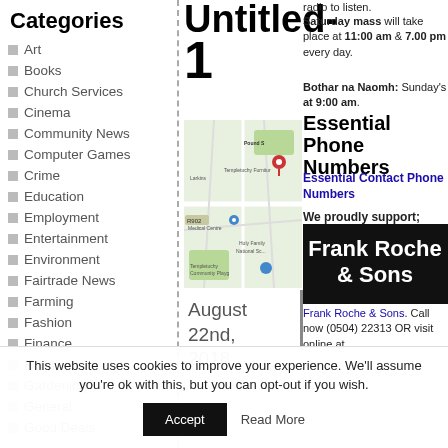Categories
Art
Books
Church Services
Cinema
Community News
Computer Games
Crime
Education
Employment
Entertainment
Environment
Fairtrade News
Farming
Fashion
Finance
Food
Gardening
General
Good Deals
Untitled-1
radio to listen.
Saturday mass will take place at 11:00 am & 7.00 pm every day.
Bothar na Naomh: Sunday's at 9:00 am.
Essential Phone Numbers
Essential Contact Phone Numbers
[Figure (map): Google map showing Templetuohy area with location pin near Pound Street]
We proudly support;
[Figure (logo): Frank Roche & Sons logo on black background]
Frank Roche & Sons. Call now (0504) 22313 OR visit online at
August 22nd, 2018
This website uses cookies to improve your experience. We'll assume you're ok with this, but you can opt-out if you wish.